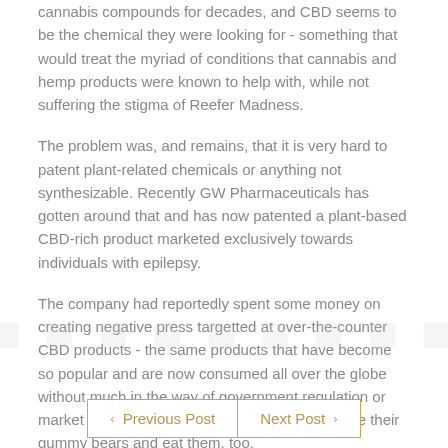Major pharmaceutical companies have been interested in cannabis compounds for decades, and CBD seems to be the chemical they were looking for - something that would treat the myriad of conditions that cannabis and hemp products were known to help with, while not suffering the stigma of Reefer Madness.
The problem was, and remains, that it is very hard to patent plant-related chemicals or anything not synthesizable. Recently GW Pharmaceuticals has gotten around that and has now patented a plant-based CBD-rich product marketed exclusively towards individuals with epilepsy.
The company had reportedly spent some money on creating negative press targetted at over-the-counter CBD products - the same products that have become so popular and are now consumed all over the globe without much in the way of government regulation or market pressures. My guess is they couldn't have their gummy bears and eat them, too.
< Previous Post   Next Post >